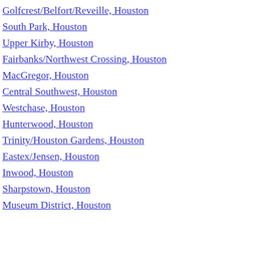Golfcrest/Belfort/Reveille, Houston
South Park, Houston
Upper Kirby, Houston
Fairbanks/Northwest Crossing, Houston
MacGregor, Houston
Central Southwest, Houston
Westchase, Houston
Hunterwood, Houston
Trinity/Houston Gardens, Houston
Eastex/Jensen, Houston
Inwood, Houston
Sharpstown, Houston
Museum District, Houston